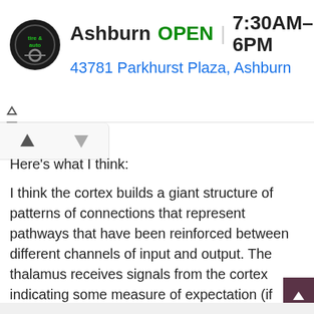[Figure (screenshot): Advertisement banner for Ashburn tire & auto shop showing logo, OPEN status, hours 7:30AM-6PM, address 43781 Parkhurst Plaza Ashburn, and a blue navigation diamond icon]
Here's what I think:
I think the cortex builds a giant structure of patterns of connections that represent pathways that have been reinforced between different channels of input and output. The thalamus receives signals from the cortex indicating some measure of expectation (if these nodes are expected, then adjacent nodes which have just fired should have increased their potential slightly), based on how incoming sensory information (organized by the thalamus) activates whichever pathways in the network. The thalamus signals the correct response to the nucleus accumbens based on the difference between incoming information and expected information.